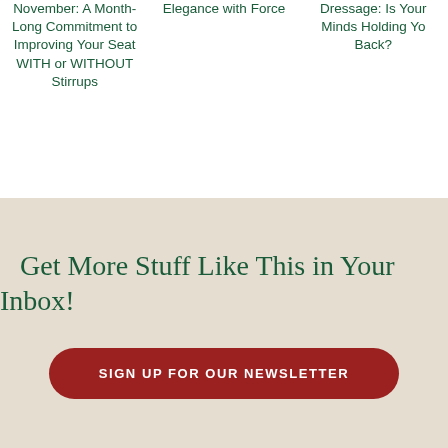November: A Month-Long Commitment to Improving Your Seat WITH or WITHOUT Stirrups
Elegance with Force
Dressage: Is Your Minds Holding Yo Back?
Get More Stuff Like This in Your Inbox!
SIGN UP FOR OUR NEWSLETTER